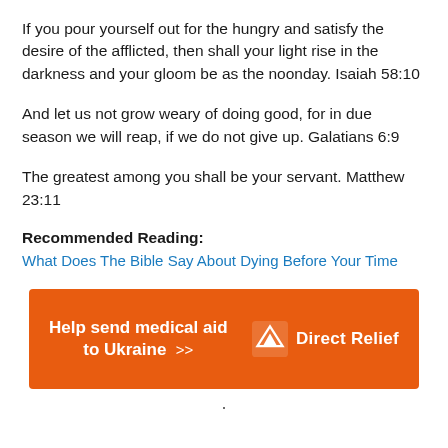If you pour yourself out for the hungry and satisfy the desire of the afflicted, then shall your light rise in the darkness and your gloom be as the noonday. Isaiah 58:10
And let us not grow weary of doing good, for in due season we will reap, if we do not give up. Galatians 6:9
The greatest among you shall be your servant. Matthew 23:11
Recommended Reading:
What Does The Bible Say About Dying Before Your Time
[Figure (infographic): Orange banner advertisement for Direct Relief: 'Help send medical aid to Ukraine >>' with Direct Relief logo on right side]